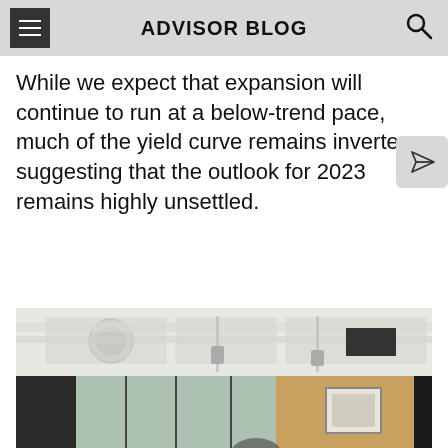ADVISOR BLOG
While we expect that expansion will continue to run at a below-trend pace, much of the yield curve remains inverted suggesting that the outlook for 2023 remains highly unsettled.
[Figure (photo): Interior office/meeting room photo showing ceiling with ventilation ducts, track lighting, large windows with natural light, wood-paneled wall, and a framed artwork. A person is partially visible at the bottom.]